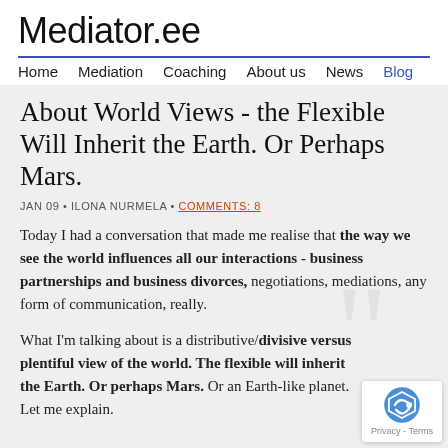Mediator.ee
Home   Mediation   Coaching   About us   News   Blog
About World Views - the Flexible Will Inherit the Earth. Or Perhaps Mars.
JAN 09 • ILONA NURMELA • COMMENTS: 8
Today I had a conversation that made me realise that the way we see the world influences all our interactions - business partnerships and business divorces, negotiations, mediations, any form of communication, really.
What I'm talking about is a distributive/divisive versus plentiful view of the world. The flexible will inherit the Earth. Or perhaps Mars. Or an Earth-like planet. Let me explain.